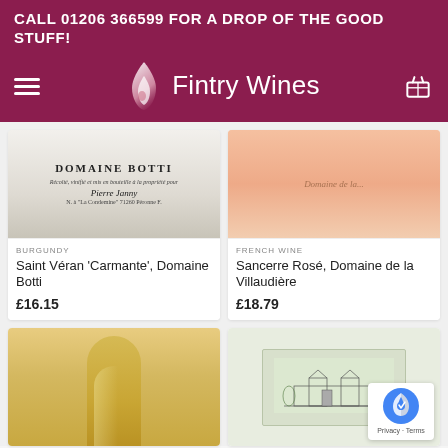CALL 01206 366599 FOR A DROP OF THE GOOD STUFF!
[Figure (logo): Fintry Wines logo with flame icon and text 'Fintry Wines' on dark red/maroon background]
[Figure (photo): Close-up of wine bottle label reading 'DOMAINE BOTTI - Récolt, vinifié et mis en bouteille à la propriété pour Pierre Janny - N. à La Condemine 71260 Péronne F.']
BURGUNDY
Saint Véran 'Carmante', Domaine Botti
£16.15
[Figure (photo): Close-up of a rosé wine bottle with label 'Domaine de la...' visible]
FRENCH WINE
Sancerre Rosé, Domaine de la Villaudière
£18.79
[Figure (photo): Close-up of a white wine bottle, golden/yellow wine visible]
[Figure (photo): Close-up of a wine bottle label showing a sketch of a château/building]
[Figure (other): Google reCAPTCHA badge with Privacy and Terms links]